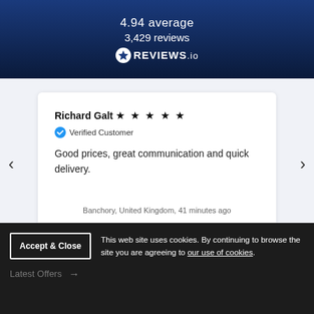[Figure (screenshot): Reviews.io banner showing 4.94 average and 3,429 reviews with star logo on dark blue background]
Richard Galt ★★★★★
Verified Customer
Good prices, great communication and quick delivery.
Banchory, United Kingdom, 41 minutes ago
This web site uses cookies. By continuing to browse the site you are agreeing to our use of cookies.
Latest Offers →